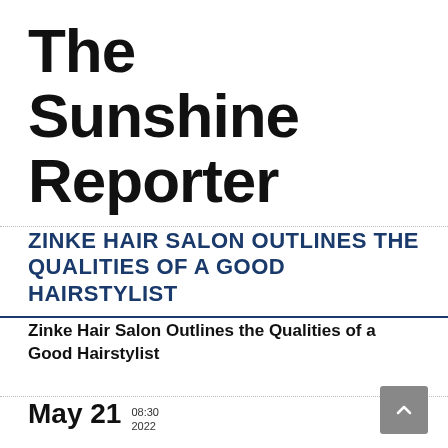The Sunshine Reporter
ZINKE HAIR SALON OUTLINES THE QUALITIES OF A GOOD HAIRSTYLIST
Zinke Hair Salon Outlines the Qualities of a Good Hairstylist
May 21  08:30  2022